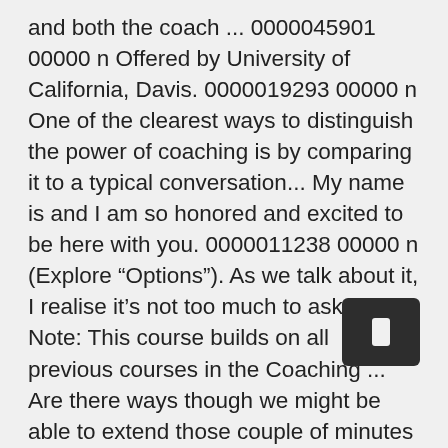and both the coach ... 0000045901 00000 n Offered by University of California, Davis. 0000019293 00000 n One of the clearest ways to distinguish the power of coaching is by comparing it to a typical conversation... My name is and I am so honored and excited to be here with you. 0000011238 00000 n (Explore “Options”). As we talk about it, I realise it’s not too much to ask, is it? Note: This course builds on all previous courses in the Coaching ... Are there ways though we might be able to extend those couple of minutes at lunch to 10 minutes of extended thinking time each day? The purpose of this dialogue is to ensure that the coach is mentally prepared for the coaching conversation. Well, put it this way. 0000019382 00000 n So we need to find you 10 minutes private thinking time each day... (“Goal” setting). Coaches don’t provide answers, they ask great questions. I’m sure they’ll understand. The latter I sometimes call ‘corridor